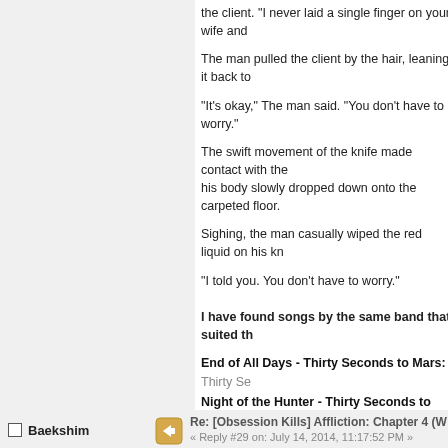the client. "I never laid a single finger on your wife and
The man pulled the client by the hair, leaning it back to
"It's okay," The man said. "You don't have to worry."
The swift movement of the knife made contact with the his body slowly dropped down onto the carpeted floor.
Sighing, the man casually wiped the red liquid on his kn
"I told you. You don't have to worry."
I have found songs by the same band that suited th
End of All Days - Thirty Seconds to Mars: Thirty Se
Night of the Hunter - Thirty Seconds to Mars: Thirty
The Kill - Thirty Seconds to Mars: Thirty Seconds T
« Last Edit: July 14, 2014, 06:27:50 PM by AryaMachdi
I'm just a guy who likes writing fanfictions, makes music and has
Twitter: http://twitter.com/AryaMachdi
Tumblr: http://aryamachdi.tumblr.com
Baekshim
Re: [Obsession Kills] Affliction: Chapter 4 (W